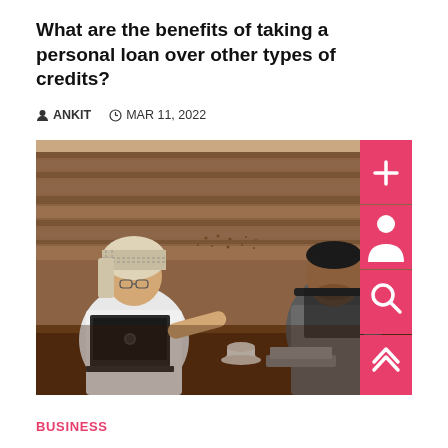What are the benefits of taking a personal loan over other types of credits?
ANKIT   MAR 11, 2022
[Figure (photo): Two men seated at a conference table — one wearing traditional Arab attire with a keffiyeh and a laptop, the other in a business suit — engaged in discussion in front of a wood-paneled wall. Social sharing sidebar buttons visible on the right.]
BUSINESS